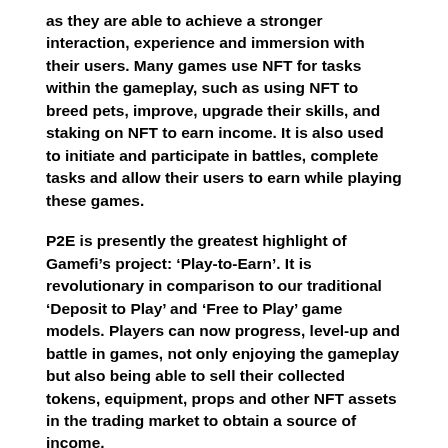as they are able to achieve a stronger interaction, experience and immersion with their users. Many games use NFT for tasks within the gameplay, such as using NFT to breed pets, improve, upgrade their skills, and staking on NFT to earn income. It is also used to initiate and participate in battles, complete tasks and allow their users to earn while playing these games.
P2E is presently the greatest highlight of Gamefi’s project: ‘Play-to-Earn’. It is revolutionary in comparison to our traditional ‘Deposit to Play’ and ‘Free to Play’ game models. Players can now progress, level-up and battle in games, not only enjoying the gameplay but also being able to sell their collected tokens, equipment, props and other NFT assets in the trading market to obtain a source of income.